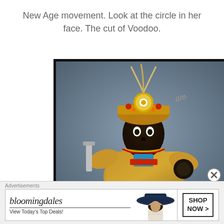New Age movement. Look at the circle in her face. The cut of Voodoo.
[Figure (photo): A decorative Hindu/spiritual statue figure with dark face, ornate golden costume, beaded jewelry, elaborate headdress with feathers and a circular disc ornament, holding what appears to be a sword or implement, set against a blue-grey background.]
Advertisements
[Figure (screenshot): Bloomingdale's advertisement banner showing logo, 'View Today's Top Deals!' text, a woman in a wide-brim hat, and 'SHOP NOW >' button.]